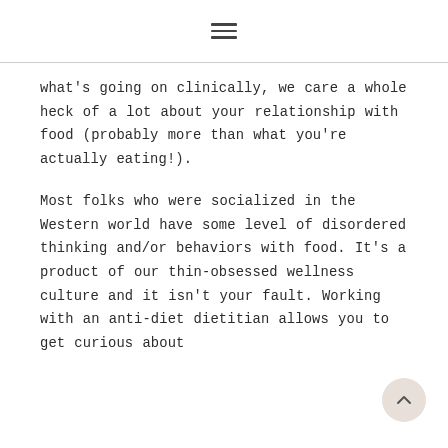☰
what's going on clinically, we care a whole heck of a lot about your relationship with food (probably more than what you're actually eating!).
Most folks who were socialized in the Western world have some level of disordered thinking and/or behaviors with food. It's a product of our thin-obsessed wellness culture and it isn't your fault. Working with an anti-diet dietitian allows you to get curious about